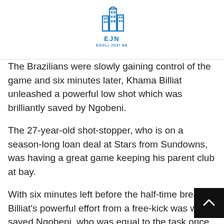[Figure (logo): EJN Egoli Jozi Ne logo — stylized building/cityscape icon in blue with text 'EJN' and 'EGOLI JOZI NE' below]
The Brazilians were slowly gaining control of the game and six minutes later, Khama Billiat unleashed a powerful low shot which was brilliantly saved by Ngobeni.
The 27-year-old shot-stopper, who is on a season-long loan deal at Stars from Sundowns, was having a great game keeping his parent club at bay.
With six minutes left before the half-time break, Billiat's powerful effort from a free-kick was well saved Ngobeni, who was equal to the task once again.
But Ngobeni was finally beaten on the stroke of half-time when Motjeka Madisha fired home to